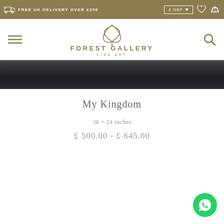FREE UK DELIVERY OVER £250
[Figure (logo): Forest Gallery Fine Art logo with stylized bird/leaf shape above the text FOREST GALLERY FINE ART]
[Figure (photo): Dark framed artwork strip showing edge of frame in dark grey/black]
My Kingdom
36 × 24 inches
£ 500.00 - £ 645.00